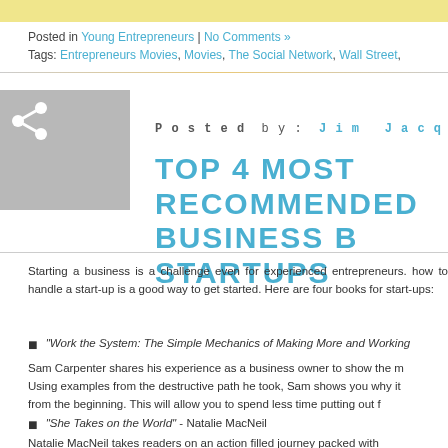Posted in Young Entrepreneurs | No Comments »
Tags: Entrepreneurs Movies, Movies, The Social Network, Wall Street,
Posted by: Jim Jacques | on February 26, 2013
TOP 4 MOST RECOMMENDED BUSINESS B... STARTUPS
Starting a business is a challenge even for experienced entrepreneurs. how to handle a start-up is a good way to get started. Here are four books for start-ups:
"Work the System: The Simple Mechanics of Making More and Working...
Sam Carpenter shares his experience as a business owner to show the m... Using examples from the destructive path he took, Sam shows you why it... from the beginning. This will allow you to spend less time putting out f...
"She Takes on the World" - Natalie MacNeil
Natalie MacNeil takes readers on an action filled journey packed with